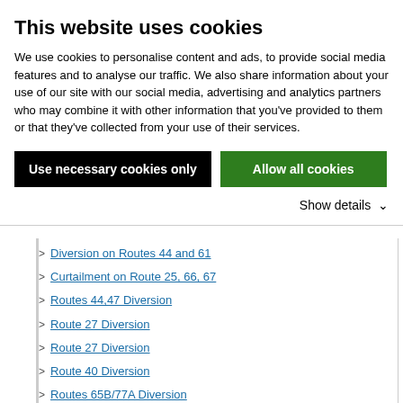This website uses cookies
We use cookies to personalise content and ads, to provide social media features and to analyse our traffic. We also share information about your use of our site with our social media, advertising and analytics partners who may combine it with other information that you've provided to them or that they've collected from your use of their services.
Use necessary cookies only | Allow all cookies
Show details
Diversion on Routes 44 and 61
Curtailment on Route 25, 66, 67
Routes 44,47 Diversion
Route 27 Diversion
Route 27 Diversion
Route 40 Diversion
Routes 65B/77A Diversion
Route 27 Diversion
May Bank Holiday Arrangements 2021
May Bank Holiday Arrangements 2021
Route 13 Diversion